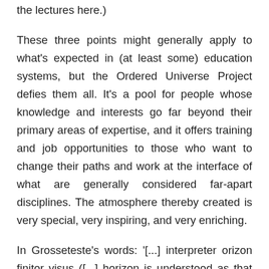the lectures here.)
These three points might generally apply to what's expected in (at least some) education systems, but the Ordered Universe Project defies them all. It's a pool for people whose knowledge and interests go far beyond their primary areas of expertise, and it offers training and job opportunities to those who want to change their paths and work at the interface of what are generally considered far-apart disciplines. The atmosphere thereby created is very special, very inspiring, and very enriching.
In Grosseteste's words: '[...] interpreter orizon finitor visus ([...] horizon is understood as that which limits vision)', and through the engagement with the Ordered Universe Project we expand the limits of our